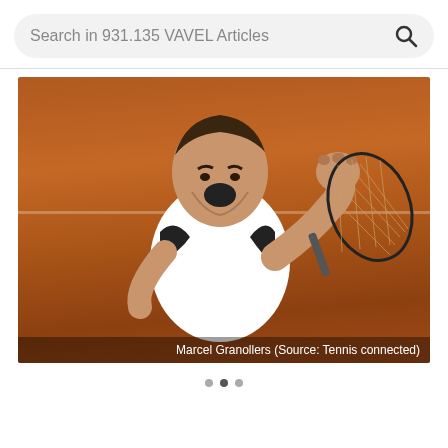Search in 931.135 VAVEL Articles
[Figure (photo): Marcel Granollers, a male tennis player wearing a white shirt with black accents, celebrating with a fist pump on a clay court. He is holding a tennis racket. Caption reads: Marcel Granollers (Source: Tennis connected)]
Marcel Granollers (Source: Tennis connected)